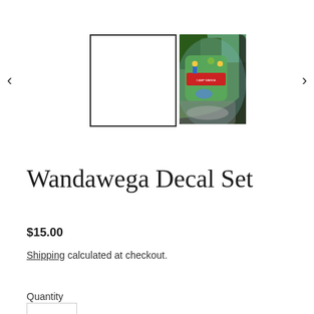[Figure (photo): Product gallery showing two thumbnail images: a white empty square with border (selected state) and a photo of colorful Camp Wandawega decals reflected in a car window. Navigation arrows on left and right sides.]
Wandawega Decal Set
$15.00
Shipping calculated at checkout.
Quantity